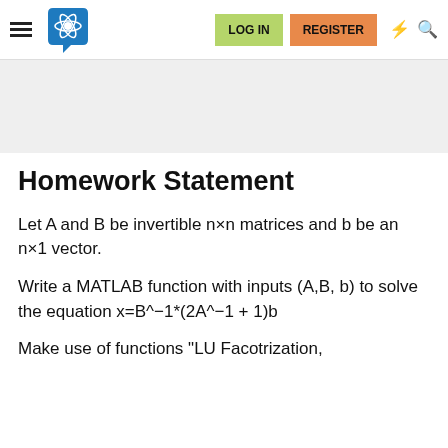LOG IN | REGISTER
Homework Statement
Let A and B be invertible n×n matrices and b be an n×1 vector.
Write a MATLAB function with inputs (A,B, b) to solve the equation x=B^−1*(2A^−1 + 1)b
Make use of functions "LU Facotrization,